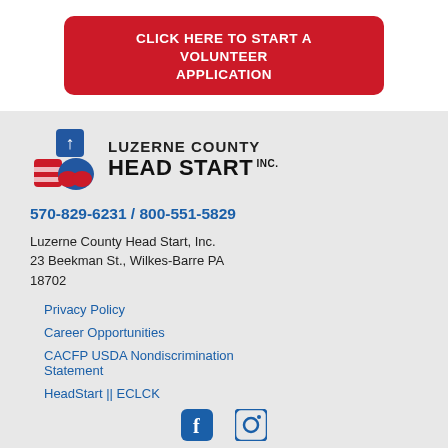CLICK HERE TO START A VOLUNTEER APPLICATION
[Figure (logo): Luzerne County Head Start, Inc. logo with building blocks graphic]
570-829-6231 / 800-551-5829
Luzerne County Head Start, Inc.
23 Beekman St., Wilkes-Barre PA 18702
Privacy Policy
Career Opportunities
CACFP USDA Nondiscrimination Statement
HeadStart || ECLCK
[Figure (illustration): Facebook and Instagram social media icons]